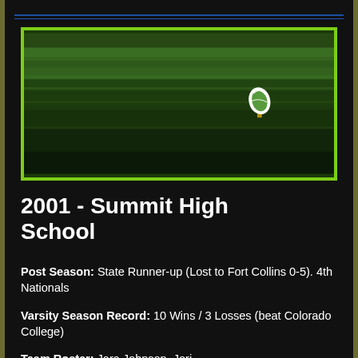[Figure (photo): A green grass rugby/soccer field with a rugby ball on a tee in the upper right portion of the image.]
2001 - Summit High School
Post Season:  State Runner-up (Lost to Fort Collins 0-5).  4th Nationals
Varsity Season Record:  10 Wins / 3 Losses (beat Colorado College)
Team Roster:  Jara Johnson, Jori